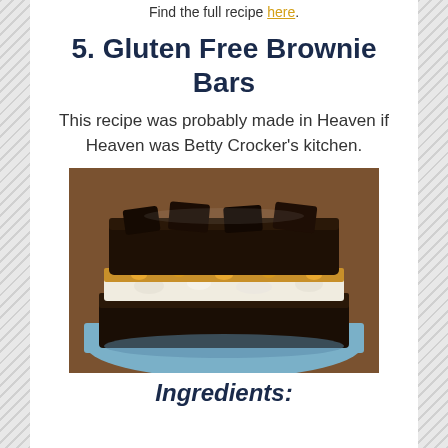Find the full recipe here.
5. Gluten Free Brownie Bars
This recipe was probably made in Heaven if Heaven was Betty Crocker's kitchen.
[Figure (photo): Close-up photo of a layered gluten free brownie bar with marshmallow and chocolate toppings on a blue plate]
Ingredients: